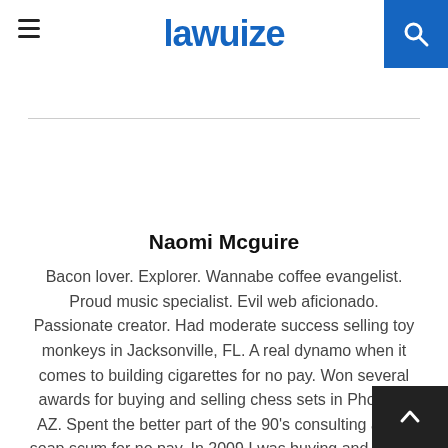lawuize
Naomi Mcguire
Bacon lover. Explorer. Wannabe coffee evangelist. Proud music specialist. Evil web aficionado. Passionate creator. Had moderate success selling toy monkeys in Jacksonville, FL. A real dynamo when it comes to building cigarettes for no pay. Won several awards for buying and selling chess sets in Phoenix, AZ. Spent the better part of the 90's consulting about soap scum for no pay. In 2009 I was buying and selling mannequins in Los Angeles, CA. In 2008 I was short selling mosquito repellent in Nigeria.